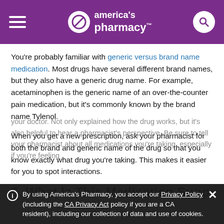america's pharmacy
You're probably familiar with generic versus brand name medication. Most drugs have several different brand names, but they also have a generic drug name. For example, acetaminophen is the generic name of an over-the-counter pain medication, but it's commonly known by the brand name Tylenol.
When you get a new prescription, ask your pharmacist for both the brand and generic name of the drug so that you know exactly what drug you're taking. This makes it easier for you to spot interactions.
5. What Is This Medication Supposed
By using America's Pharmacy, you accept our Privacy Policy (including the CA Privacy Act policy if you are a CA resident), including our collection of data and use of cookies.